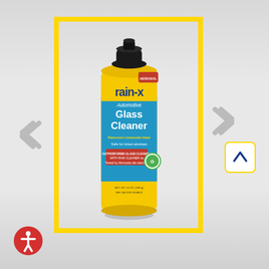[Figure (photo): Rain-X Automotive Glass Cleaner aerosol spray can with yellow label and black cap, displayed inside a yellow rectangular border frame on a gray gradient background. Navigation arrows appear on left and right sides. An up-arrow button appears at lower right. An accessibility icon appears at lower left.]